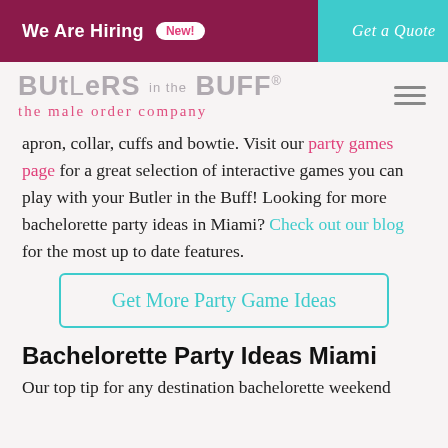We Are Hiring  New!  Get a Quote
[Figure (logo): Butlers in the Buff logo - 'BUTLERS in the BUFF® the male order company' with hamburger menu icon]
apron, collar, cuffs and bowtie. Visit our party games page for a great selection of interactive games you can play with your Butler in the Buff! Looking for more bachelorette party ideas in Miami? Check out our blog for the most up to date features.
Get More Party Game Ideas
Bachelorette Party Ideas Miami
Our top tip for any destination bachelorette weekend